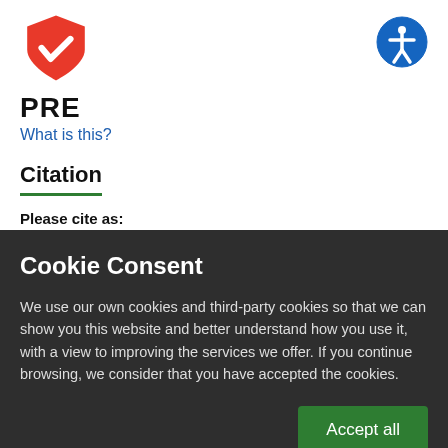[Figure (logo): Red shield with white checkmark — PRE logo]
[Figure (logo): Blue circle accessibility icon]
PRE
What is this?
Citation
Please cite as:
Moens K, Peeters M, Van den Bulcke M, Leys M, Horlait M
Cookie Consent
We use our own cookies and third-party cookies so that we can show you this website and better understand how you use it, with a view to improving the services we offer. If you continue browsing, we consider that you have accepted the cookies.